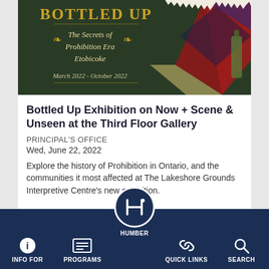[Figure (illustration): Exhibition banner for 'Bottled Up: The Secrets of Prohibition Era Etobicoke', dark green background with gold text, stained glass diamond pattern on the right, dates March 2022 - October 2022]
Bottled Up Exhibition on Now + Scene & Unseen at the Third Floor Gallery
PRINCIPAL'S OFFICE
Wed, June 22, 2022
Explore the history of Prohibition in Ontario, and the communities it most affected at The Lakeshore Grounds Interpretive Centre's new exhibition.
INFO FOR | PROGRAMS | HUMBER | QUICK LINKS | SEARCH